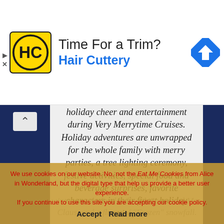[Figure (illustration): Advertisement banner for Hair Cuttery. Shows Hair Cuttery yellow/black logo, text 'Time For a Trim?' and 'Hair Cuttery' in blue, with a navigation/maps icon on the right.]
holiday cheer and entertainment during Very Merrytime Cruises. Holiday adventures are unwrapped for the whole family with merry parties, a tree lighting ceremony, festive activities, special food and beverage surprises, favorite characters in their finest holiday attire, a winter wonderland ball with Santa and Mrs. Claus, and a flurry of "Frozen" snowfall.
Bookings open to the public June 13, 2019. More details
We use cookies on our website. No, not the Eat Me Cookies from Alice in Wonderland, but the digital type that help us provide a better user experience.
If you continue to use this site you are accepting our cookie policy.
Accept  Read more